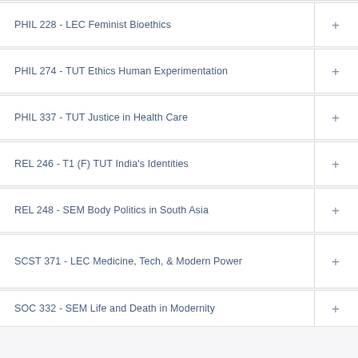PHIL 228 - LEC Feminist Bioethics
PHIL 274 - TUT Ethics Human Experimentation
PHIL 337 - TUT Justice in Health Care
REL 246 - T1 (F) TUT India's Identities
REL 248 - SEM Body Politics in South Asia
SCST 371 - LEC Medicine, Tech, & Modern Power
SOC 332 - SEM Life and Death in Modernity